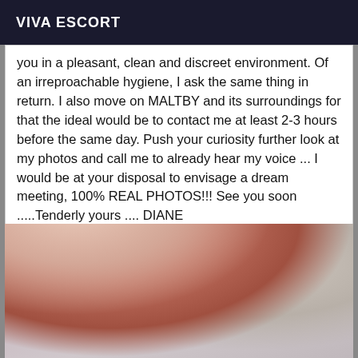VIVA ESCORT
you in a pleasant, clean and discreet environment. Of an irreproachable hygiene, I ask the same thing in return. I also move on MALTBY and its surroundings for that the ideal would be to contact me at least 2-3 hours before the same day. Push your curiosity further look at my photos and call me to already hear my voice ... I would be at your disposal to envisage a dream meeting, 100% REAL PHOTOS!!! See you soon .....Tenderly yours .... DIANE
[Figure (photo): Blurred close-up photo showing a person's body, partially obscured]